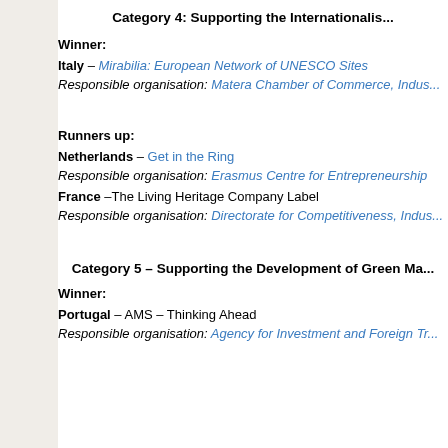Category 4: Supporting the Internationalisation...
Winner:
Italy – Mirabilia: European Network of UNESCO Sites
Responsible organisation: Matera Chamber of Commerce, Indus...
Runners up:
Netherlands – Get in the Ring
Responsible organisation: Erasmus Centre for Entrepreneurship
France –The Living Heritage Company Label
Responsible organisation: Directorate for Competitiveness, Indus...
Category 5 – Supporting the Development of Green Ma...
Winner:
Portugal – AMS – Thinking Ahead
Responsible organisation: Agency for Investment and Foreign Tr...